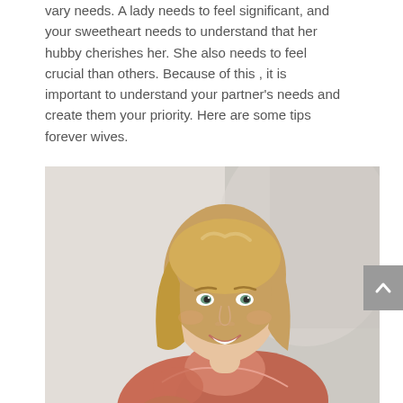vary needs. A lady needs to feel significant, and your sweetheart needs to understand that her hubby cherishes her. She also needs to feel crucial than others. Because of this , it is important to understand your partner's needs and create them your priority. Here are some tips forever wives.
[Figure (photo): A smiling middle-aged blonde woman wearing a salmon/coral colored top, photographed against a light grey/white background. She is leaning slightly forward and smiling warmly at the camera.]